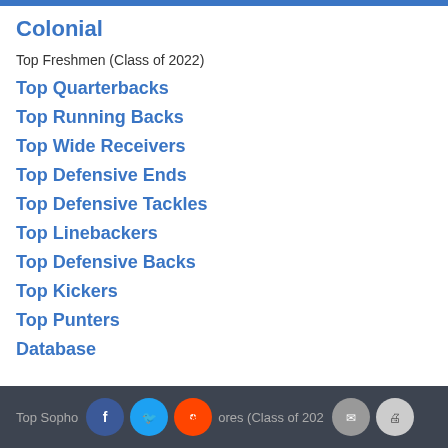Colonial
Top Freshmen (Class of 2022)
Top Quarterbacks
Top Running Backs
Top Wide Receivers
Top Defensive Ends
Top Defensive Tackles
Top Linebackers
Top Defensive Backs
Top Kickers
Top Punters
Database
Top Sophomores (Class of 2022)